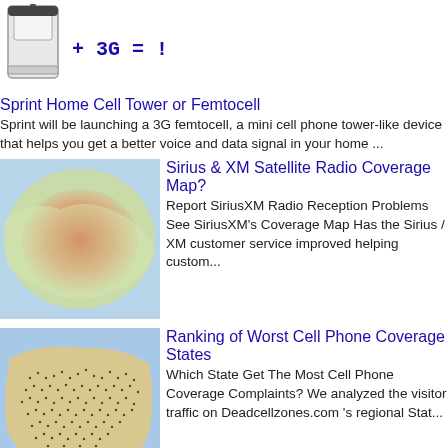[Figure (photo): White femtocell device icon with '+ 3G = !' text overlay]
Sprint Home Cell Tower or Femtocell
Sprint will be launching a 3G femtocell, a mini cell phone tower-like device that helps you get a better voice and data signal in your home ...
[Figure (map): Sirius XM satellite radio coverage map showing red coverage area over a map]
Sirius & XM Satellite Radio Coverage Map?
Report SiriusXM Radio Reception Problems See  SiriusXM's Coverage Map Has the Sirius / XM customer service improved helping custom...
[Figure (map): US map showing cell coverage with dense black dots representing coverage areas]
Ranking of Worst Cell Phone Coverage States
Which State Get The Most Cell Phone Coverage Complaints?  We analyzed the visitor traffic on  Deadcellzones.com 's regional Stat...
[Figure (photo): Partial image at bottom of page, appears to be a circuit board or map]